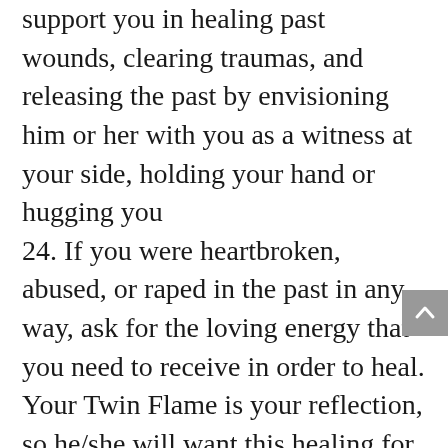support you in healing past wounds, clearing traumas, and releasing the past by envisioning him or her with you as a witness at your side, holding your hand or hugging you 24. If you were heartbroken, abused, or raped in the past in any way, ask for the loving energy that you need to receive in order to heal. Your Twin Flame is your reflection, so he/she will want this healing for you if you want it for you 25. During orgasm, allow your Twin Flame's male seed energy to come into the center of your womb, entering the sacred void space 26. When hitting the end of your